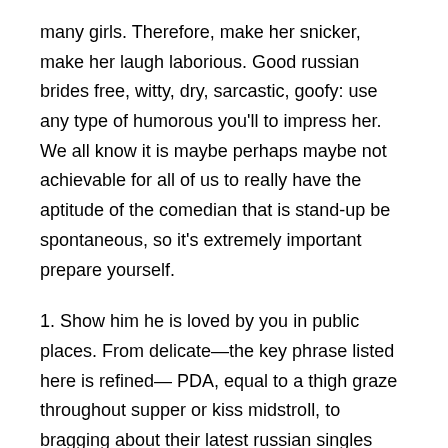many girls. Therefore, make her snicker, make her laugh laborious. Good russian brides free, witty, dry, sarcastic, goofy: use any type of humorous you'll to impress her. We all know it is maybe perhaps maybe not achievable for all of us to really have the aptitude of the comedian that is stand-up be spontaneous, so it's extremely important prepare yourself.
1. Show him he is loved by you in public places. From delicate—the key phrase listed here is refined— PDA, equal to a thigh graze throughout supper or kiss midstroll, to bragging about their latest russian singles club work accomplishment to partygoers, you will be signaling to your guy he is tops—and everybody else ought to too